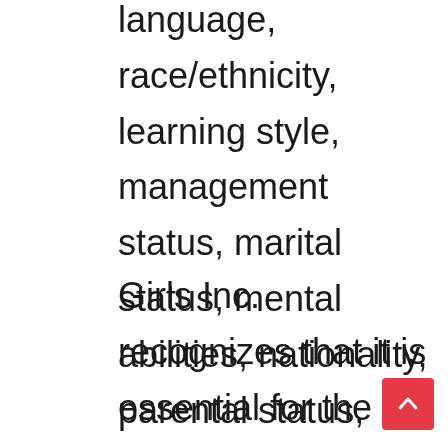language, race/ethnicity, learning style, management status, marital status, mental abilities, nationality, parental status, physical abilities, political affiliation, religion, seniority/tenure, sex/gender, veteran status, work experience, or work location.
Girls Inc. recognizes that it is essential for the organization to include the values of diversity and inclusiveness as part of our strategy to achieve our vision and mission.  Our commitment